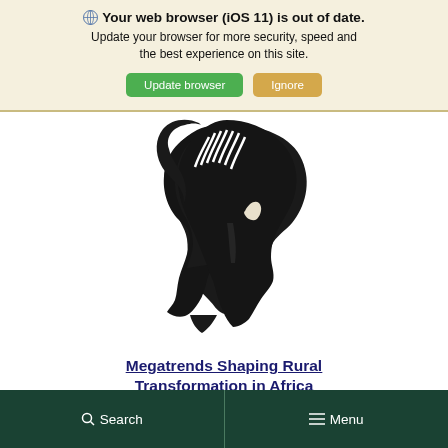Your web browser (iOS 11) is out of date. Update your browser for more security, speed and the best experience on this site.
[Figure (logo): Michigan State University Spartan helmet logo in black silhouette]
Megatrends Shaping Rural Transformation in Africa
Search   Menu